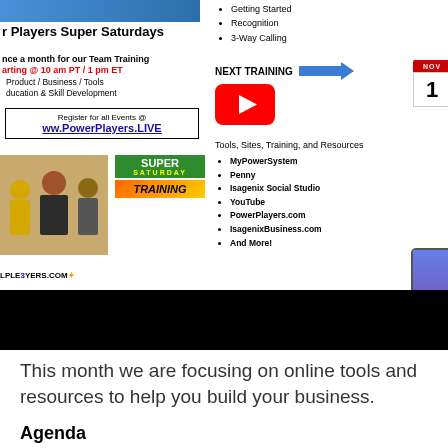[Figure (screenshot): Power Players Super Saturdays promotional screenshot showing event details, YouTube icon, calendar, bullet lists of topics and tools/resources, Super Saturday Training badge, and PowerPlayers.LIVE registration info]
[Figure (other): Black bar divider]
This month we are focusing on online tools and resources to help you build your business.
Agenda
MyPowerSystem